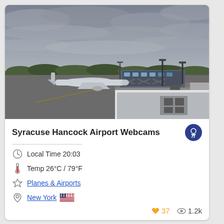[Figure (photo): Webcam photo of Syracuse Hancock Airport tarmac showing a parked airplane near jet bridges, airport terminal structure, and an overcast cloudy sky. Trees visible in the background along the horizon.]
Syracuse Hancock Airport Webcams
Local Time 20:03
Temp 26°C / 79°F
Planes & Airports
New York
37  1.2k